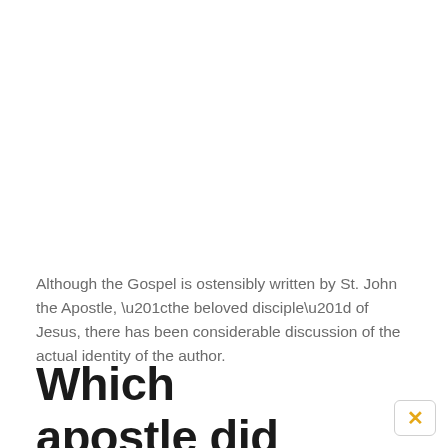Although the Gospel is ostensibly written by St. John the Apostle, “the beloved disciple” of Jesus, there has been considerable discussion of the actual identity of the author.
Which apostle did Jesus love most?